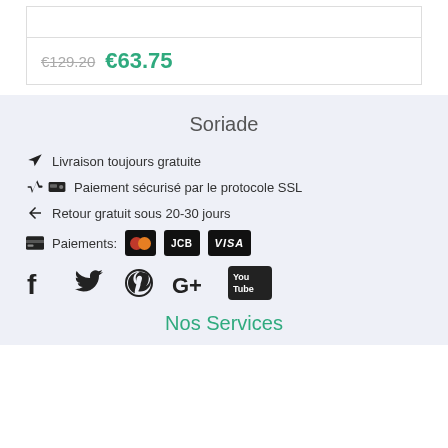€129.20  €63.75
Soriade
✈ Livraison toujours gratuite
👍 Paiement sécurisé par le protocole SSL
↩ Retour gratuit sous 20-30 jours
🖥 Paiements: [Mastercard] [JCB] [VISA]
[Figure (logo): Social media icons: Facebook, Twitter, Pinterest, Google+, YouTube]
Nos Services